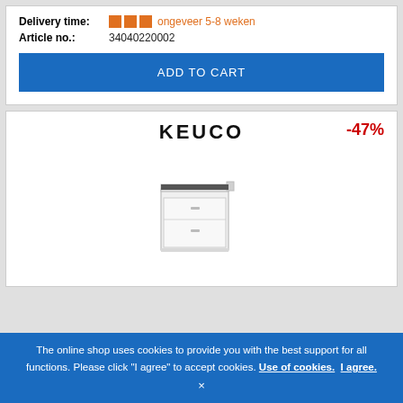Delivery time: ongeveer 5-8 weken
Article no.: 34040220002
ADD TO CART
[Figure (photo): Keuco brand logo and product image of a white bathroom cabinet with a drawer, showing -47% discount badge]
The online shop uses cookies to provide you with the best support for all functions. Please click "I agree" to accept cookies. Use of cookies. I agree.